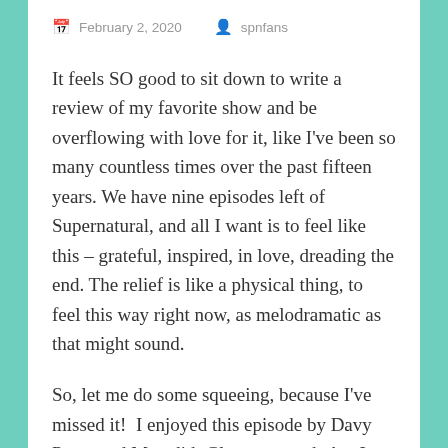February 2, 2020   spnfans
It feels SO good to sit down to write a review of my favorite show and be overflowing with love for it, like I’ve been so many countless times over the past fifteen years. We have nine episodes left of Supernatural, and all I want is to feel like this – grateful, inspired, in love, dreading the end. The relief is like a physical thing, to feel this way right now, as melodramatic as that might sound.
So, let me do some squeeing, because I’ve missed it!  I enjoyed this episode by Davy Perez and Meredith Glynn so much that I just want to go scene by scene and savor it all over